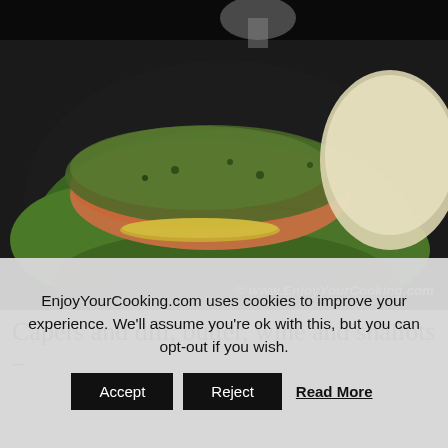[Figure (photo): A plate of salmon fillets topped with capers, dill and shallot herb mixture, served on green lettuce leaves with lemon slices and mashed potatoes on the side. A wine glass is visible in the background. Copyright watermark reads: © www.EnjoyYourCooking.com]
© www.EnjoyYourCooking.com
Capers and dill, butter, wine and shallots –
EnjoyYourCooking.com uses cookies to improve your experience. We'll assume you're ok with this, but you can opt-out if you wish.   Accept   Reject   Read More